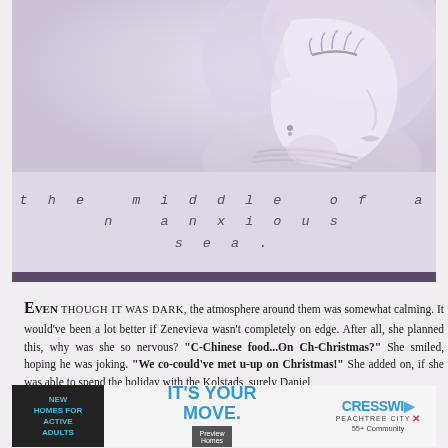[Figure (photo): Close-up profile photo of a young woman with platinum blonde hair, looking downward, wearing a striped top, muted lavender/grey tones]
the middle of an anxious sea.
EVEN THOUGH IT WAS DARK, the atmosphere around them was somewhat calming. It would've been a lot better if Zenevieva wasn't completely on edge. After all, she planned this, why was she so nervous? "C-Chinese food...On Ch-Christmas?" She smiled, hoping he was joking. "We co-could've met u-up on Christmas!" She added on, if she was able to spend the holiday with the Kolstads, surely Daniel
[Figure (screenshot): Advertisement banner: NEW HOMES FOR ACTIVE ADULTS / IT'S YOUR MOVE. / Preview Homes button / CRESSWIND PEACHTREE CITY 55+ Community]